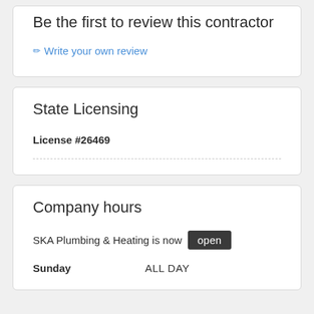Be the first to review this contractor
✏ Write your own review
State Licensing
License #26469
Company hours
SKA Plumbing & Heating is now open
Sunday   ALL DAY